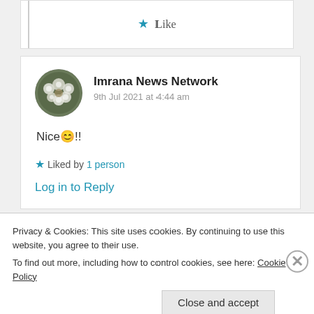[Figure (other): Like button with blue star icon and text 'Like']
[Figure (photo): Circular avatar photo of flowers/white blossoms]
Imrana News Network
9th Jul 2021 at 4:44 am
Nice😊!!
★ Liked by 1 person
Log in to Reply
Privacy & Cookies: This site uses cookies. By continuing to use this website, you agree to their use.
To find out more, including how to control cookies, see here: Cookie Policy
Close and accept